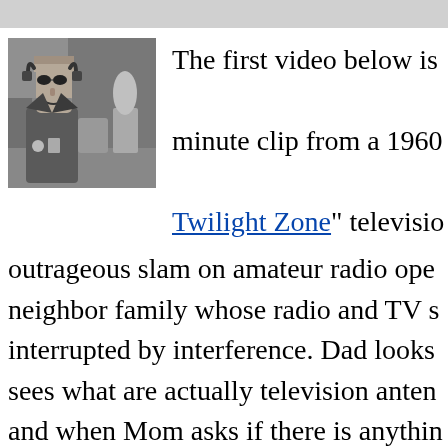[Figure (photo): Black and white photo of a Frankenstein-like monster character wearing headphones, sitting at what appears to be a radio equipment setup.]
The first video below is a minute clip from a 1960 "Twilight Zone" television outrageous slam on amateur radio ope… neighbor family whose radio and TV s… interrupted by interference. Dad looks sees what are actually television anten… and when Mom asks if there is anythin…